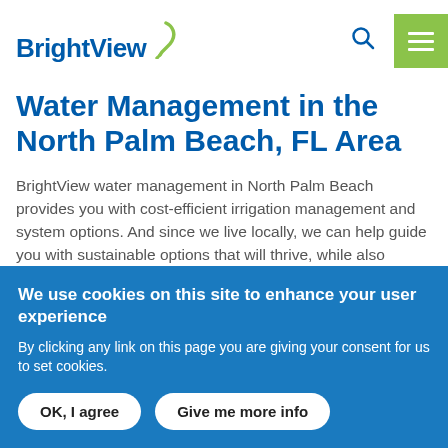BrightView [logo]
Water Management in the North Palm Beach, FL Area
BrightView water management in North Palm Beach provides you with cost-efficient irrigation management and system options. And since we live locally, we can help guide you with sustainable options that will thrive, while also assisting with the navigation of the most complex...
We use cookies on this site to enhance your user experience
By clicking any link on this page you are giving your consent for us to set cookies.
OK, I agree   Give me more info